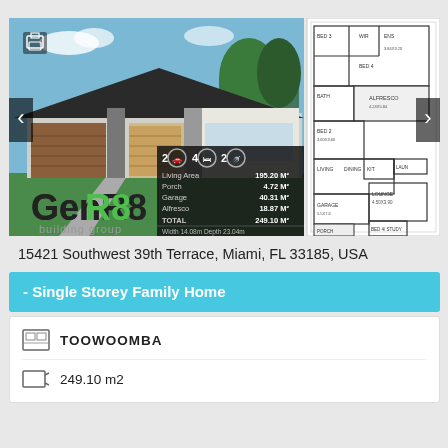[Figure (photo): Exterior render of a single storey family home with dark roof, timber garage door, and landscaped front yard. GenR8 Building Group logo and floor plan statistics overlay visible. Floor plan diagram shown to the right.]
15421 Southwest 39th Terrace, Miami, FL 33185, USA
- Single Storey Family Home
TOOWOOMBA
249.10 m2